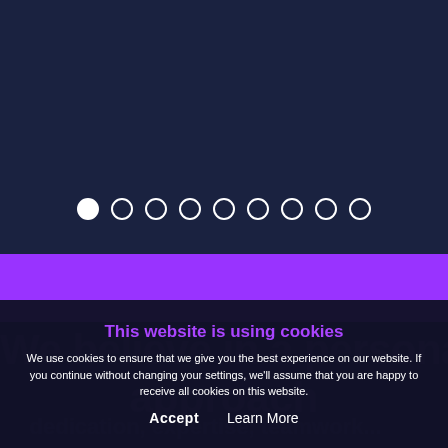[Figure (screenshot): Dark navy blue top section with carousel dot indicators (9 dots, first one filled white, rest outlined)]
[Figure (screenshot): Bright purple horizontal bar]
We believe in a personal approach
This website is using cookies
We use cookies to ensure that we give you the best experience on our website. If you continue without changing your settings, we'll assume that you are happy to receive all cookies on this website.
Accept   Learn More